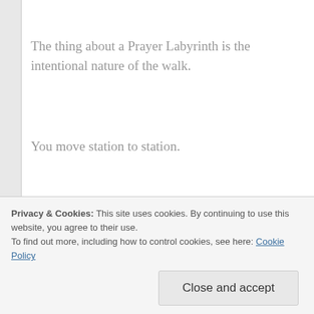The thing about a Prayer Labyrinth is the intentional nature of the walk.
You move station to station.
You walk slowly and thoughtfully. As it was designed. For prayer. Haltingly. Moving with purpose.
Trust me I tried to almost run it once.
Privacy & Cookies: This site uses cookies. By continuing to use this website, you agree to their use.
To find out more, including how to control cookies, see here: Cookie Policy
Close and accept